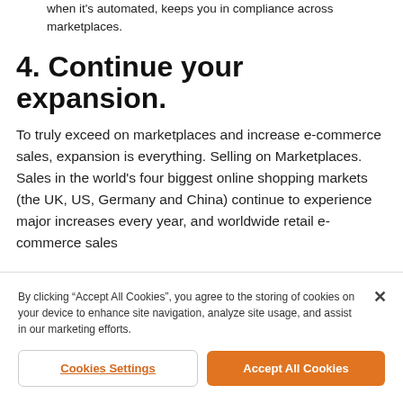when it's automated, keeps you in compliance across marketplaces.
4. Continue your expansion.
To truly exceed on marketplaces and increase e-commerce sales, expansion is everything. Selling on Marketplaces. Sales in the world's four biggest online shopping markets (the UK, US, Germany and China) continue to experience major increases every year, and worldwide retail e-commerce sales
By clicking “Accept All Cookies”, you agree to the storing of cookies on your device to enhance site navigation, analyze site usage, and assist in our marketing efforts.
Cookies Settings
Accept All Cookies